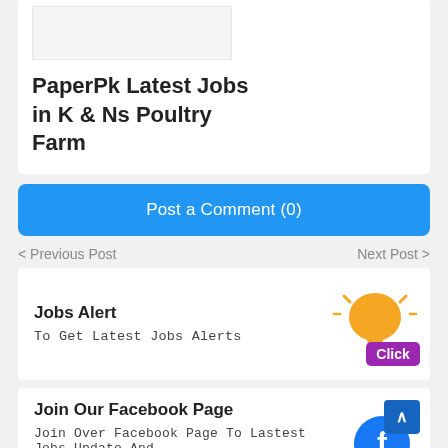[Figure (photo): Partial image placeholder at top of card]
PaperPk Latest Jobs in K & Ns Poultry Farm
Post a Comment (0)
< Previous Post
Next Post >
Jobs Alert
To Get Latest Jobs Alerts
[Figure (illustration): Orange bell notification icon with purple 'Click' label]
Join Our Facebook Page
Join Over Facebook Page To Lastest Jobs Update And
[Figure (logo): Facebook logo icon (blue circle with white f) with scroll-to-top button overlay]